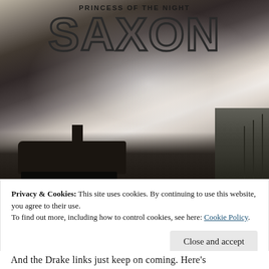[Figure (photo): Black and white album cover image for Saxon 'Princess of the Night'. Shows a steam locomotive with large smoke clouds billowing upward. The band name SAXON is written in large outlined block letters across the top portion of the image, with 'PRINCESS OF THE NIGHT' text above it.]
Privacy & Cookies: This site uses cookies. By continuing to use this website, you agree to their use.
To find out more, including how to control cookies, see here: Cookie Policy
Close and accept
And the Drake links just keep on coming. Here's